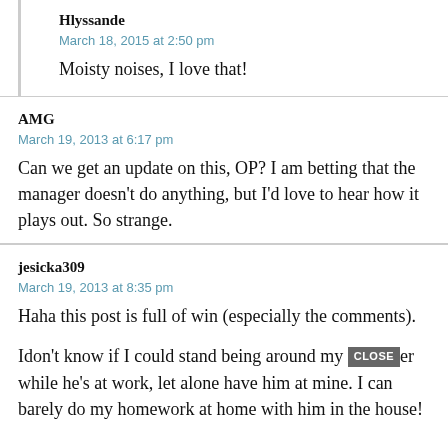Hlyssande
March 18, 2015 at 2:50 pm
Moisty noises, I love that!
AMG
March 19, 2013 at 6:17 pm
Can we get an update on this, OP? I am betting that the manager doesn’t do anything, but I’d love to hear how it plays out. So strange.
jesicka309
March 19, 2013 at 8:35 pm
Haha this post is full of win (especially the comments).
Idon’t know if I could stand being around my partner while he’s at work, let alone have him at mine. I can barely do my homework at home with him in the house!